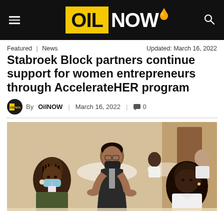OIL NOW
Featured | News   Updated: March 16, 2022
Stabroek Block partners continue support for women entrepreneurs through AccelerateHER program
By OilNOW | March 16, 2022 | 0
[Figure (photo): Workshop or conference scene with multiple attendees, a woman in the center leaning over a table wearing a face mask and dark sleeveless top, a woman on the left with braids and a light blue face mask, and a man on the right in a white shirt, all seated or standing at tables in a hotel conference room setting.]